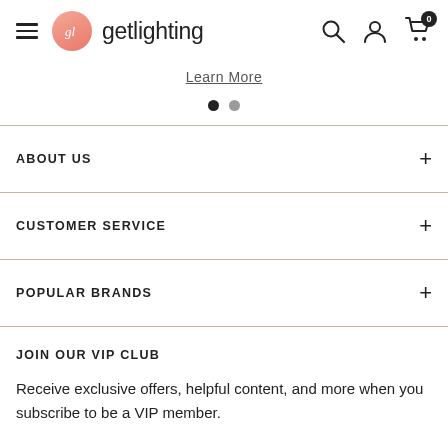getlighting — navigation header with hamburger menu, logo, search, account, and cart (0 items)
Learn More
[Figure (other): Two pagination dots — first filled dark, second lighter]
ABOUT US
CUSTOMER SERVICE
POPULAR BRANDS
JOIN OUR VIP CLUB
Receive exclusive offers, helpful content, and more when you subscribe to be a VIP member.